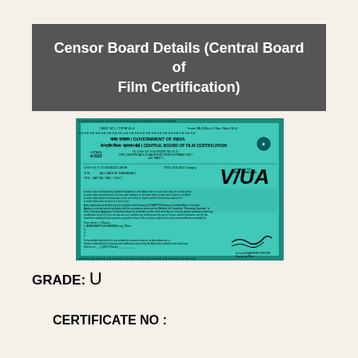Censor Board Details (Central Board of Film Certification)
[Figure (other): Scanned CBFC certificate document on teal/cyan background with Government of India and Central Board of Film Certification header, showing certificate number, category V/UA, various text fields, signatures, and official stamp]
GRADE: U
CERTIFICATE NO :